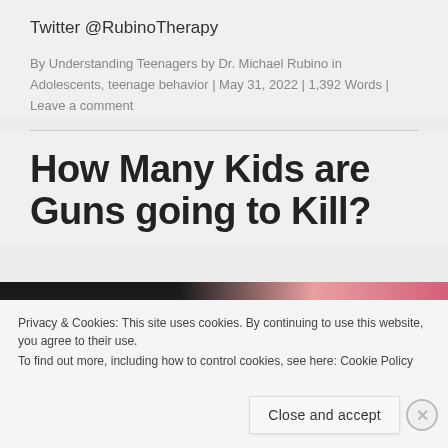Twitter @RubinoTherapy
By Understanding Teenagers by Dr. Michael Rubino in Adolescents, teenage behavior | May 31, 2022 | 1,392 Words | Leave a comment
How Many Kids are Guns going to Kill?
Privacy & Cookies: This site uses cookies. By continuing to use this website, you agree to their use.
To find out more, including how to control cookies, see here: Cookie Policy
Close and accept